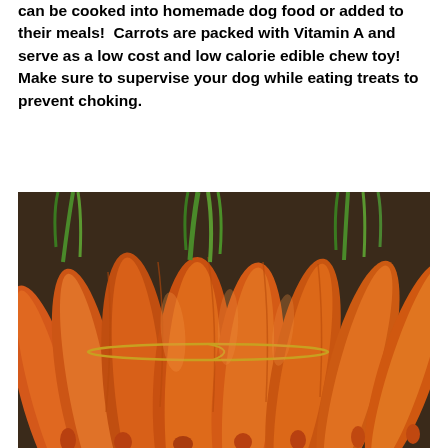can be cooked into homemade dog food or added to their meals!  Carrots are packed with Vitamin A and serve as a low cost and low calorie edible chew toy!  Make sure to supervise your dog while eating treats to prevent choking.
[Figure (photo): A close-up photograph of a large bunch of fresh whole carrots with green tops, piled together on a dark surface.]